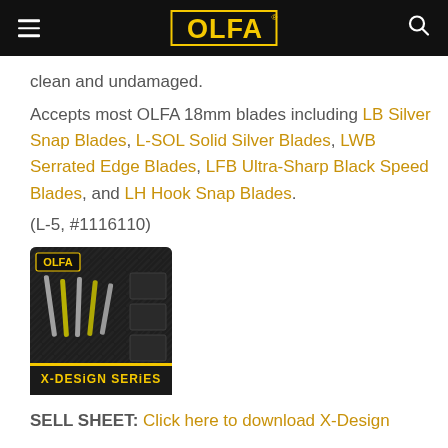OLFA (navigation bar with logo, hamburger menu, and search icon)
clean and undamaged.
Accepts most OLFA 18mm blades including LB Silver Snap Blades, L-SOL Solid Silver Blades, LWB Serrated Edge Blades, LFB Ultra-Sharp Black Speed Blades, and LH Hook Snap Blades.
(L-5, #1116110)
[Figure (photo): OLFA X-Design Series product packaging showing multiple utility knives and blades on a dark diamond-plate background with 'X-DESIGN SERIES' text at bottom]
SELL SHEET: Click here to download X-Design